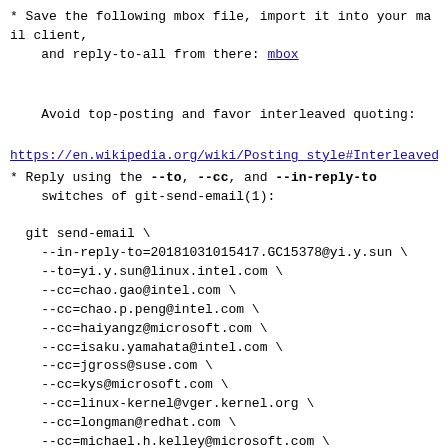* Save the following mbox file, import it into your mail client,
    and reply-to-all from there: mbox
Avoid top-posting and favor interleaved quoting:
https://en.wikipedia.org/wiki/Posting_style#Interleaved_s
* Reply using the --to, --cc, and --in-reply-to switches of git-send-email(1):

  git send-email \
    --in-reply-to=20181031015417.GC15378@yi.y.sun \
    --to=yi.y.sun@linux.intel.com \
    --cc=chao.gao@intel.com \
    --cc=chao.p.peng@intel.com \
    --cc=haiyangz@microsoft.com \
    --cc=isaku.yamahata@intel.com \
    --cc=jgross@suse.com \
    --cc=kys@microsoft.com \
    --cc=linux-kernel@vger.kernel.org \
    --cc=longman@redhat.com \
    --cc=michael.h.kelley@microsoft.com \
    --cc=mingo@redhat.com \
    --cc=peterz@infradead.org \
    --cc=sthemmin@microsoft.com \
    --cc=tglx@linutronix.de \
    --cc=tianyu.lan@microsoft.com \
    --cc=will.deacon@arm.com \